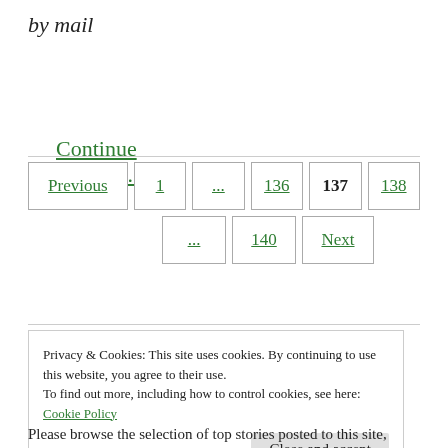by mail
Continue reading...
Previous 1 … 136 137 138 … 140 Next
Privacy & Cookies: This site uses cookies. By continuing to use this website, you agree to their use.
To find out more, including how to control cookies, see here: Cookie Policy
Close and accept
Please browse the selection of top stories posted to this site,